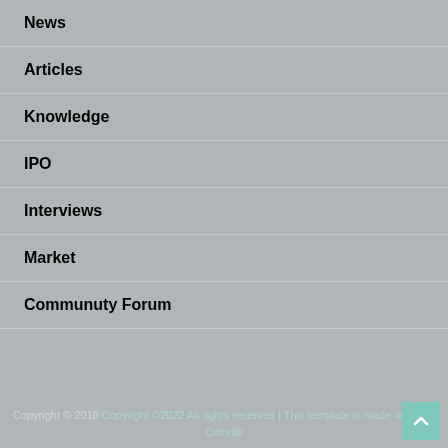News
Articles
Knowledge
IPO
Interviews
Market
Communuty Forum
Copyright © 2018 Copyright ©2022 All rights reserved | This template is made with ♥ by Colorlib